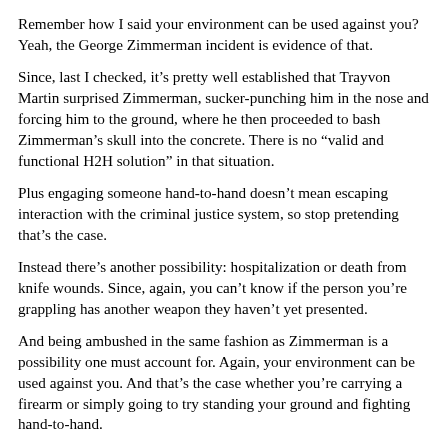Remember how I said your environment can be used against you? Yeah, the George Zimmerman incident is evidence of that.
Since, last I checked, it’s pretty well established that Trayvon Martin surprised Zimmerman, sucker-punching him in the nose and forcing him to the ground, where he then proceeded to bash Zimmerman’s skull into the concrete. There is no “valid and functional H2H solution” in that situation.
Plus engaging someone hand-to-hand doesn’t mean escaping interaction with the criminal justice system, so stop pretending that’s the case.
Instead there’s another possibility: hospitalization or death from knife wounds. Since, again, you can’t know if the person you’re grappling has another weapon they haven’t yet presented.
And being ambushed in the same fashion as Zimmerman is a possibility one must account for. Again, your environment can be used against you. And that’s the case whether you’re carrying a firearm or simply going to try standing your ground and fighting hand-to-hand.
In all seriousness, train for hand-to-hand if you desire. But situational awareness along with competent risk assessment so you avoid the need to defend yourself will always be the...